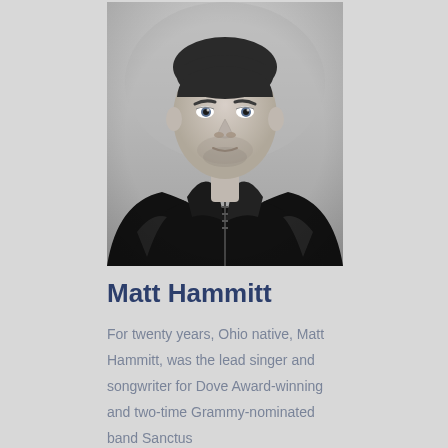[Figure (photo): Black and white portrait photo of Matt Hammitt, a man wearing a dark leather jacket, looking toward the camera with a slight downward gaze, against a light background.]
Matt Hammitt
For twenty years, Ohio native, Matt Hammitt, was the lead singer and songwriter for Dove Award-winning and two-time Grammy-nominated band Sanctus